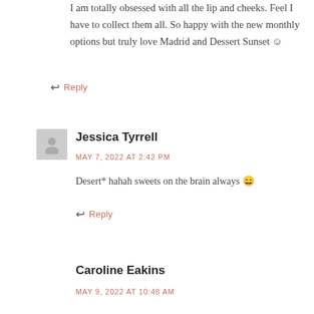I am totally obsessed with all the lip and cheeks. Feel I have to collect them all. So happy with the new monthly options but truly love Madrid and Dessert Sunset 😊
Reply
Jessica Tyrrell
MAY 7, 2022 AT 2:42 PM
Desert* hahah sweets on the brain always 😄
Reply
Caroline Eakins
MAY 9, 2022 AT 10:48 AM